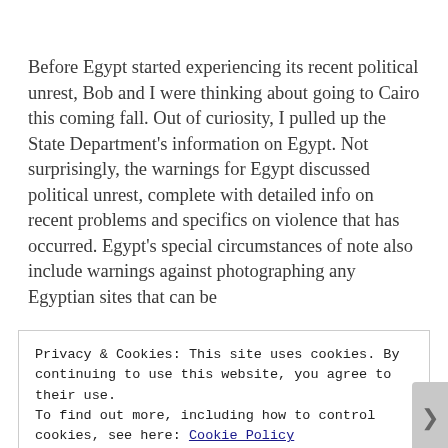Before Egypt started experiencing its recent political unrest, Bob and I were thinking about going to Cairo this coming fall. Out of curiosity, I pulled up the State Department's information on Egypt. Not surprisingly, the warnings for Egypt discussed political unrest, complete with detailed info on recent problems and specifics on violence that has occurred. Egypt's special circumstances of note also include warnings against photographing any Egyptian sites that can be
Privacy & Cookies: This site uses cookies. By continuing to use this website, you agree to their use.
To find out more, including how to control cookies, see here: Cookie Policy
Close and accept